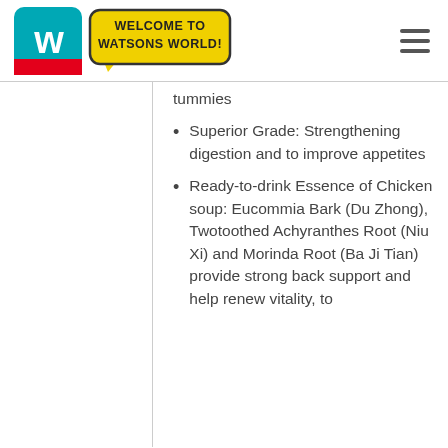Welcome to Watsons World!
tummies
Superior Grade: Strengthening digestion and to improve appetites
Ready-to-drink Essence of Chicken soup: Eucommia Bark (Du Zhong), Twotoothed Achyranthes Root (Niu Xi) and Morinda Root (Ba Ji Tian) provide strong back support and help renew vitality, to